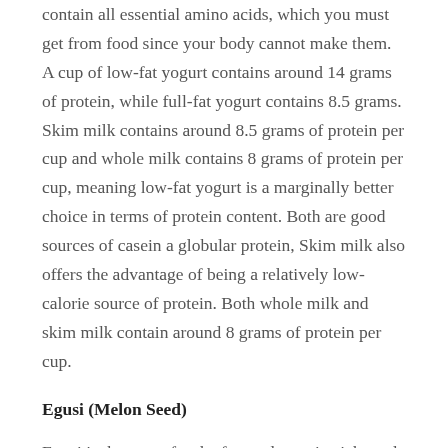contain all essential amino acids, which you must get from food since your body cannot make them. A cup of low-fat yogurt contains around 14 grams of protein, while full-fat yogurt contains 8.5 grams. Skim milk contains around 8.5 grams of protein per cup and whole milk contains 8 grams of protein per cup, meaning low-fat yogurt is a marginally better choice in terms of protein content. Both are good sources of casein a globular protein, Skim milk also offers the advantage of being a relatively low-calorie source of protein. Both whole milk and skim milk contain around 8 grams of protein per cup.
Egusi (Melon Seed)
Egusi is the name for the fat- and protein-rich seeds of certain cucurbitaceous melon plants, which after being dried and ground are used as a major ingredient in many